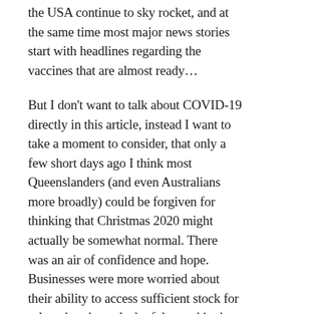the USA continue to sky rocket, and at the same time most major news stories start with headlines regarding the vaccines that are almost ready…
But I don't want to talk about COVID-19 directly in this article, instead I want to take a moment to consider, that only a few short days ago I think most Queenslanders (and even Australians more broadly) could be forgiven for thinking that Christmas 2020 might actually be somewhat normal. There was an air of confidence and hope. Businesses were more worried about their ability to access sufficient stock for sale rather than a lack of demand in the lead up to the silly season and Christmas parties on the horizon.